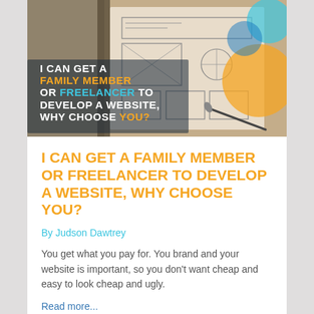[Figure (photo): Hero image of a website wireframe sketchbook with colorful paint splashes (orange, teal, blue circles) overlaid. Bold text overlay reads: I CAN GET A FAMILY MEMBER OR FREELANCER TO DEVELOP A WEBSITE, WHY CHOOSE YOU?]
I CAN GET A FAMILY MEMBER OR FREELANCER TO DEVELOP A WEBSITE, WHY CHOOSE YOU?
By Judson Dawtrey
You get what you pay for. You brand and your website is important, so you don't want cheap and easy to look cheap and ugly.
Read more...